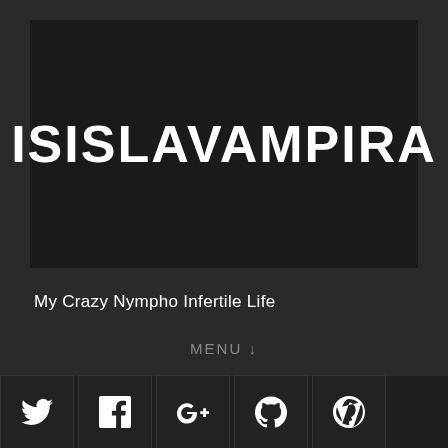ISISLAVAMPIRA
My Crazy Nympho Infertile Life
MENU ↓
[Figure (other): Social media icon bar with Twitter, Facebook, Google+, GitHub, and WordPress icons on dark background]